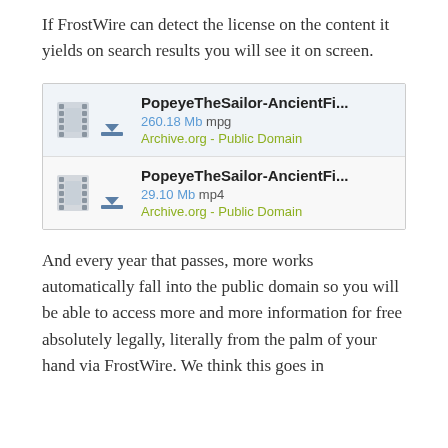If FrostWire can detect the license on the content it yields on search results you will see it on screen.
[Figure (screenshot): Screenshot showing two FrostWire search results for 'PopeyeTheSailor-AncientFi...' — first row shows 260.18 Mb mpg with 'Archive.org - Public Domain' label, second row shows 29.10 Mb mp4 with 'Archive.org - Public Domain' label. Each row has a film strip icon and a download arrow icon.]
And every year that passes, more works automatically fall into the public domain so you will be able to access more and more information for free absolutely legally, literally from the palm of your hand via FrostWire. We think this goes in